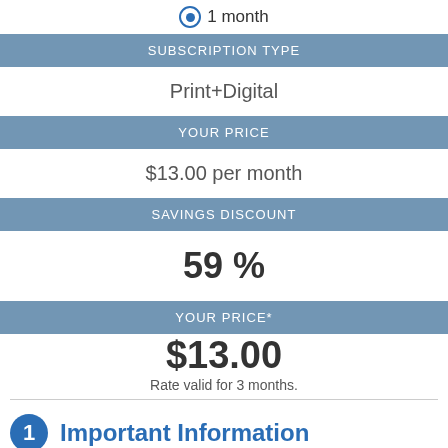1 month
| SUBSCRIPTION TYPE |
| --- |
| Print+Digital |
| YOUR PRICE |
| --- |
| $13.00 per month |
| SAVINGS DISCOUNT |
| --- |
| 59 % |
| YOUR PRICE* |
| --- |
| $13.00 |
| Rate valid for 3 months. |
1 Important Information
Start this subscription as soon as possible. Delivery will begin within the next 2-3 business days.
Start this subscription at a later date. Select start